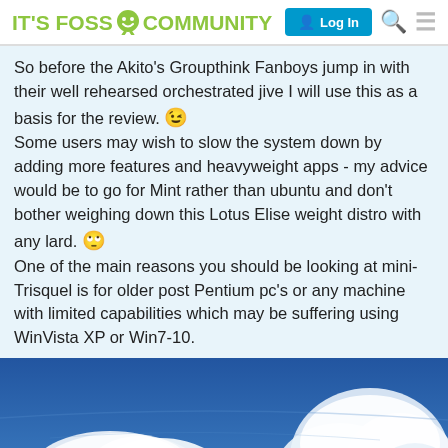IT'S FOSS COMMUNITY  Log In
So before the Akito's Groupthink Fanboys jump in with their well rehearsed orchestrated jive I will use this as a basis for the review. 😉
Some users may wish to slow the system down by adding more features and heavyweight apps - my advice would be to go for Mint rather than ubuntu and don't bother weighing down this Lotus Elise weight distro with any lard. 🙄
One of the main reasons you should be looking at mini-Trisquel is for older post Pentium pc's or any machine with limited capabilities which may be suffering using WinVista XP or Win7-10.
[Figure (photo): Photo of blue sky with large white cumulus clouds]
1 / 15